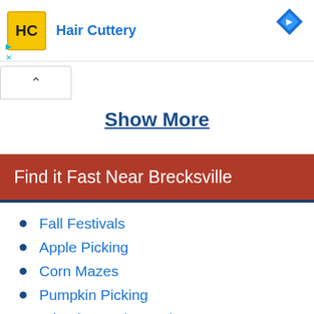[Figure (illustration): Advertisement banner for Hair Cuttery with yellow logo, brand name in blue, and a blue navigation diamond icon in the top right. Small cyan triangle/X links at bottom left of banner.]
[Figure (other): Collapse/chevron-up button below the ad banner]
Show More
Find it Fast Near Brecksville
Fall Festivals
Apple Picking
Corn Mazes
Pumpkin Picking
Wineries & Vineyards